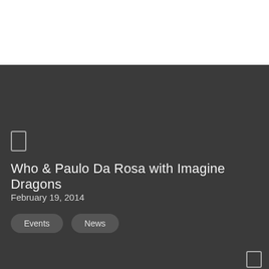Who & Paulo Da Rosa with Imagine Dragons
February 19, 2014
Events
News